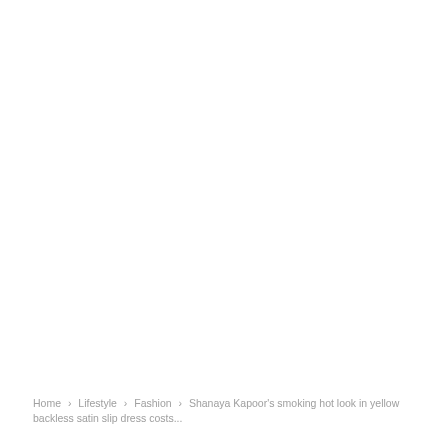Home › Lifestyle › Fashion › Shanaya Kapoor's smoking hot look in yellow backless satin slip dress costs...